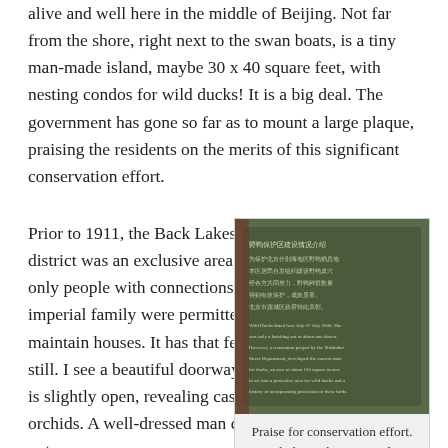alive and well here in the middle of Beijing. Not far from the shore, right next to the swan boats, is a tiny man-made island, maybe 30 x 40 square feet, with nesting condos for wild ducks! It is a big deal. The government has gone so far as to mount a large plaque, praising the residents on the merits of this significant conservation effort.
Prior to 1911, the Back Lakes district was an exclusive area, where only people with connections to the imperial family were permitted to maintain houses. It has that feeling still. I see a beautiful doorway that is slightly open, revealing cascading orchids. A well-dressed man comes out
[Figure (photo): A plaque with Chinese and English text praising a conservation effort for wild ducks, mounted outdoors.]
Praise for conservation effort. Click on photo to read.